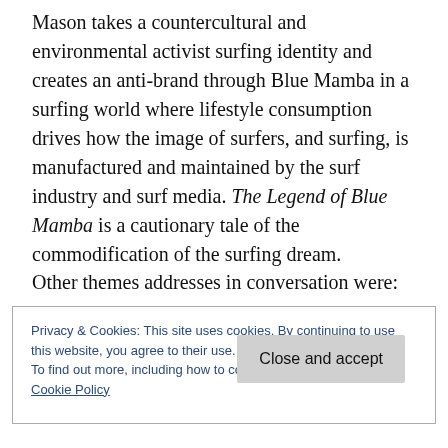Mason takes a countercultural and environmental activist surfing identity and creates an anti-brand through Blue Mamba in a surfing world where lifestyle consumption drives how the image of surfers, and surfing, is manufactured and maintained by the surf industry and surf media. The Legend of Blue Mamba is a cautionary tale of the commodification of the surfing dream.
Other themes addresses in conversation were:
Privacy & Cookies: This site uses cookies. By continuing to use this website, you agree to their use.
To find out more, including how to control cookies, see here: Cookie Policy
Close and accept